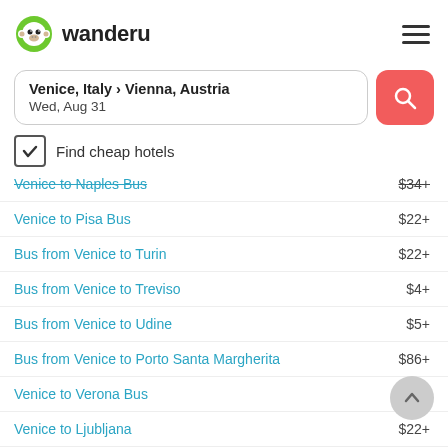[Figure (logo): Wanderu logo: green monkey face icon followed by 'wanderu' text in bold dark font]
Venice, Italy › Vienna, Austria
Wed, Aug 31
Find cheap hotels
Venice to Naples Bus  $34+
Venice to Pisa Bus  $22+
Bus from Venice to Turin  $22+
Bus from Venice to Treviso  $4+
Bus from Venice to Udine  $5+
Bus from Venice to Porto Santa Margherita  $86+
Venice to Verona Bus  $7+
Venice to Ljubljana  $22+
Venice to Maribor Bus  $44+
Bus from Venice to Zgornji Brnik  $88+